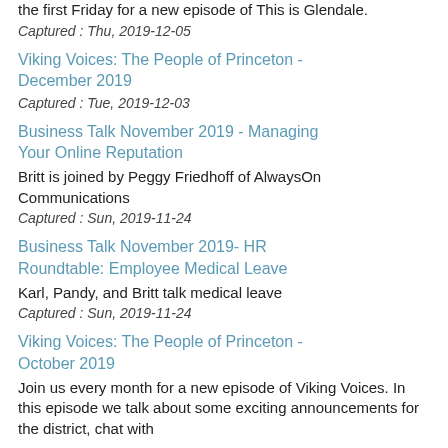the first Friday for a new episode of This is Glendale.
Captured : Thu, 2019-12-05
Viking Voices: The People of Princeton - December 2019
Captured : Tue, 2019-12-03
Business Talk November 2019 - Managing Your Online Reputation
Britt is joined by Peggy Friedhoff of AlwaysOn Communications
Captured : Sun, 2019-11-24
Business Talk November 2019- HR Roundtable: Employee Medical Leave
Karl, Pandy, and Britt talk medical leave
Captured : Sun, 2019-11-24
Viking Voices: The People of Princeton - October 2019
Join us every month for a new episode of Viking Voices. In this episode we talk about some exciting announcements for the district, chat with